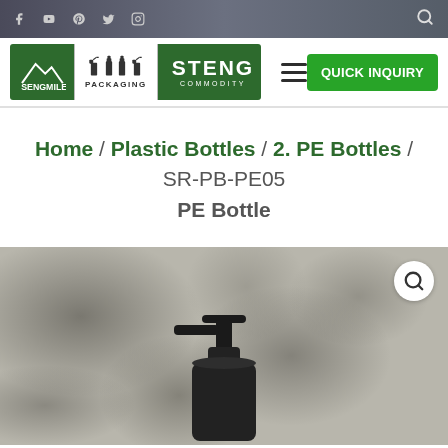Social media navigation bar with icons for Facebook, YouTube, Pinterest, Twitter, Instagram, and search
[Figure (logo): Steng Packaging / Steng Commodity company logo — green box with mountain and spray bottle icons, STENG COMMODITY text]
Home / Plastic Bottles / 2. PE Bottles / SR-PB-PE05 PE Bottle
[Figure (photo): Product photo of a PE spray bottle with black pump top, shown against a concrete textured background]